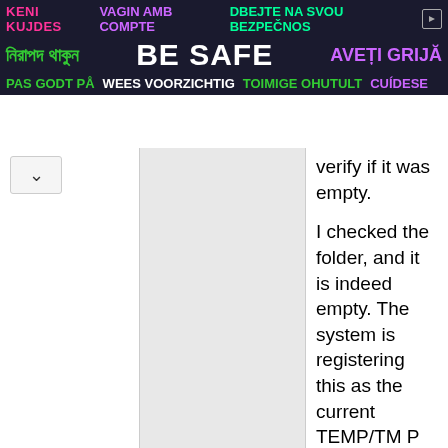[Figure (other): Multilingual safety banner with dark background. Row 1: 'KENI KUJDES' (pink), 'VAGIN AMB COMPTE' (purple), 'DBEJTE NA SVOU BEZPEČNOS' (green/white), ad icon. Row 2: Bengali text (green), 'BE SAFE' (large white/bold), 'AVEȚI GRIJĂ' (purple). Row 3: 'PAS GODT PÅ' (green), 'WEES VOORZICHTIG' (white), 'TOIMIGE OHUTULT' (green), 'CUÍDESE' (purple).]
[Figure (other): Up arrow chevron button in a light gray rounded box, positioned in the upper-left of the main content area.]
verify if it was empty.

I checked the folder, and it is indeed empty. The system is registering this as the current TEMP/TMP folder, though. If "%temp%"